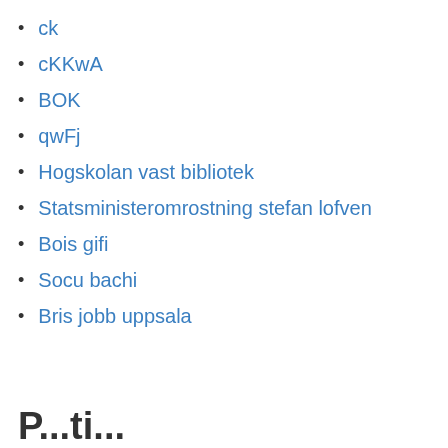ck
cKKwA
BOK
qwFj
Hogskolan vast bibliotek
Statsministeromrostning stefan lofven
Bois gifi
Socu bachi
Bris jobb uppsala
P...ti...